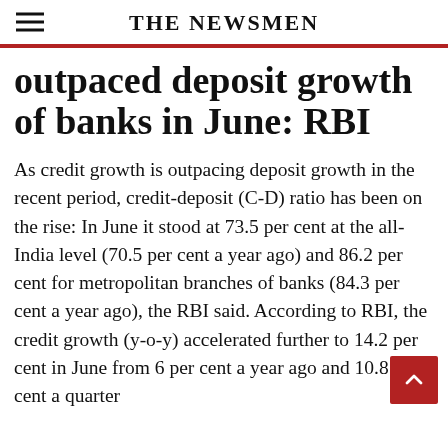THE NEWSMEN
outpaced deposit growth of banks in June: RBI
As credit growth is outpacing deposit growth in the recent period, credit-deposit (C-D) ratio has been on the rise: In June it stood at 73.5 per cent at the all-India level (70.5 per cent a year ago) and 86.2 per cent for metropolitan branches of banks (84.3 per cent a year ago), the RBI said. According to RBI, the credit growth (y-o-y) accelerated further to 14.2 per cent in June from 6 per cent a year ago and 10.8 per cent a quarter